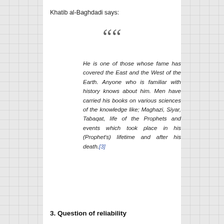Khatib al-Baghdadi says:
““
He is one of those whose fame has covered the East and the West of the Earth. Anyone who is familiar with history knows about him. Men have carried his books on various sciences of the knowledge like; Maghazi, Siyar, Tabaqat, life of the Prophets and events which took place in his (Prophet's) lifetime and after his death.[3]
3. Question of reliability